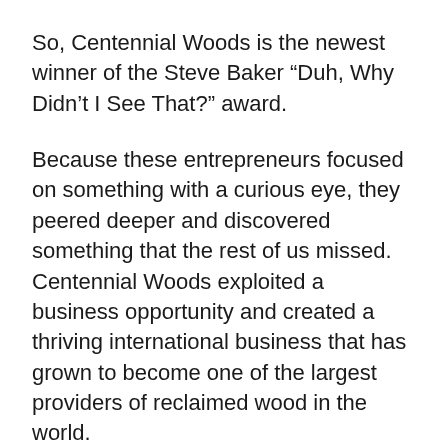So, Centennial Woods is the newest winner of the Steve Baker “Duh, Why Didn’t I See That?” award.
Because these entrepreneurs focused on something with a curious eye, they peered deeper and discovered something that the rest of us missed. Centennial Woods exploited a business opportunity and created a thriving international business that has grown to become one of the largest providers of reclaimed wood in the world.
If you know of other creative companies that have made something big out of something else, please leave me a comment or shoot me an email. I’d love to know them.